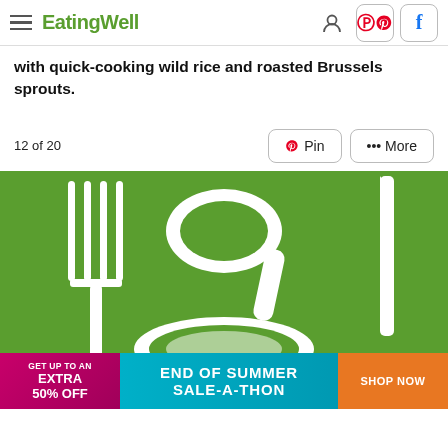EatingWell
with quick-cooking wild rice and roasted Brussels sprouts.
12 of 20
[Figure (illustration): EatingWell branded green illustration showing white silhouettes of a fork (left), spoon (center), plate (bottom center), and knife (right) on a green background.]
[Figure (infographic): Advertisement banner: GET UP TO AN EXTRA 50% OFF | END OF SUMMER SALE-A-THON | SHOP NOW]